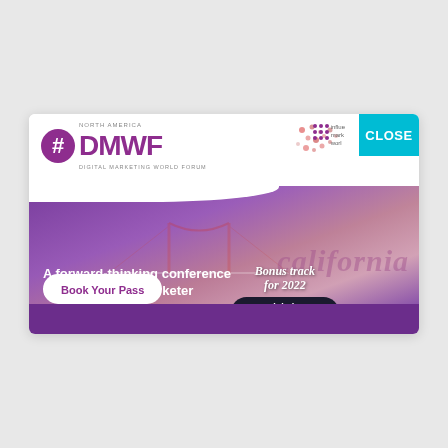[Figure (infographic): DMWF Digital Marketing World Forum North America conference advertisement banner. Purple and white design with Golden Gate Bridge background photo, California watermark text. Features #DMWF logo, conference details for 5-6 October 2022 at Santa Clara Convention Center, a Book Your Pass button, Bonus track for 2022 badge, Digital Transformation DTW pill, and a teal CLOSE button in top right corner. Influencer Marketing World logo partial in top right.]
#DMWF DIGITAL MARKETING WORLD FORUM
NORTH AMERICA
A forward-thinking conference for the modern marketer
5-6 October 2022
Santa Clara Convention Center
Book Your Pass
Bonus track for 2022
DTW Digital Transformation
CLOSE